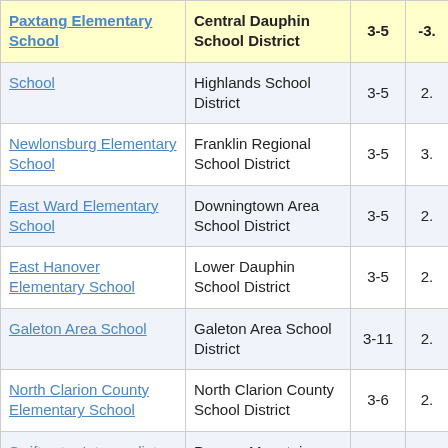| School | District | Grades | Score |
| --- | --- | --- | --- |
| Paxtang Elementary School | Central Dauphin School District | 3-5 | -3. |
| School | Highlands School District | 3-5 | 2. |
| Newlonsburg Elementary School | Franklin Regional School District | 3-5 | 3. |
| East Ward Elementary School | Downingtown Area School District | 3-5 | 2. |
| East Hanover Elementary School | Lower Dauphin School District | 3-5 | 2. |
| Galeton Area School | Galeton Area School District | 3-11 | 2. |
| North Clarion County Elementary School | North Clarion County School District | 3-6 | 2. |
| Swiftwater Intermediate School (8281) | Pocono Mountain School District | 4-6 | 1. |